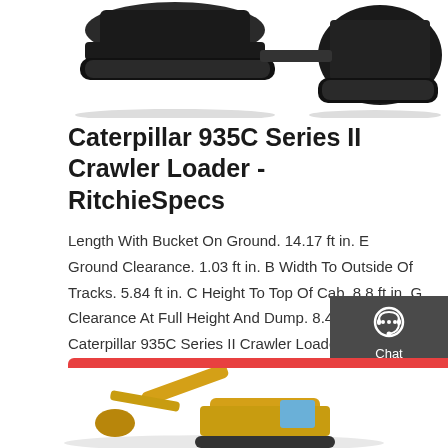[Figure (photo): Top portion of a Caterpillar crawler loader / heavy equipment photo, showing tracks and undercarriage, partially cropped at top of page]
Caterpillar 935C Series II Crawler Loader - RitchieSpecs
Length With Bucket On Ground. 14.17 ft in. E Ground Clearance. 1.03 ft in. B Width To Outside Of Tracks. 5.84 ft in. C Height To Top Of Cab. 8.8 ft in. G Clearance At Full Height And Dump. 8.48 ft Find Caterpillar 935C Series II Crawler Loader for Sale . 2005 Cat 980G Series II Wheel Loader. 11286 SACRAMENTO, CA. 2007 Caterpillar 950H
[Figure (screenshot): Sidebar with dark grey background showing Chat, Email, and Contact icons/buttons]
Get a quote
[Figure (photo): Bottom portion of a yellow Caterpillar excavator or loader, partially visible at the bottom of the page]